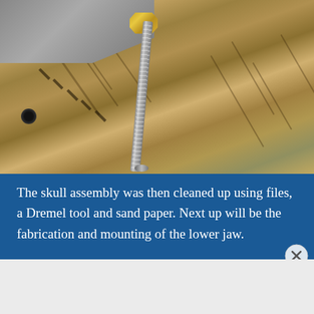[Figure (photo): Close-up photo of a metal drill bit or screw shaft attached to a metal assembly with a gold/brass nut at top, resting on a wooden surface with visible grain and saw marks.]
The skull assembly was then cleaned up using files, a Dremel tool and sand paper. Next up will be the fabrication and mounting of the lower jaw.
AUTOMATTIC
Build a better web and a better world.